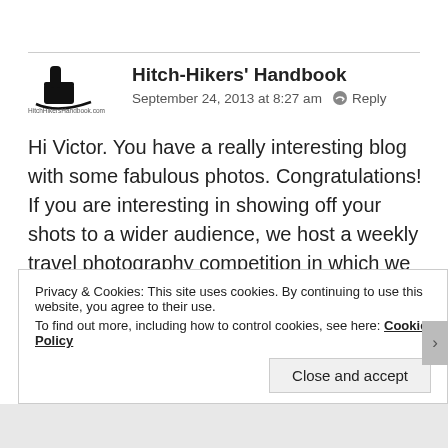[Figure (logo): Hitch-Hikers Handbook logo with thumbs-up icon and HitchHikersHandbook.com text]
Hitch-Hikers' Handbook
September 24, 2013 at 8:27 am   Reply
Hi Victor. You have a really interesting blog with some fabulous photos. Congratulations! If you are interesting in showing off your shots to a wider audience, we host a weekly travel photography competition in which we would love you to participate. Here are the details:
http://hitchhikershandbook.com/your-
Privacy & Cookies: This site uses cookies. By continuing to use this website, you agree to their use.
To find out more, including how to control cookies, see here: Cookie Policy
Close and accept